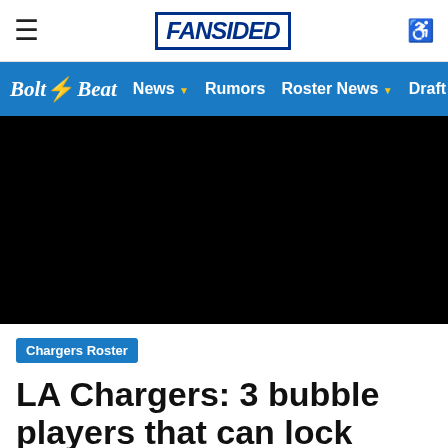FANSIDED
Bolt Beat  News  Rumors  Roster News  Draft
[Figure (photo): Black hero image area, likely a dark sports photo or video placeholder]
Chargers Roster
LA Chargers: 3 bubble players that can lock down